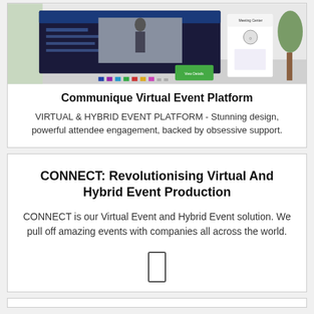[Figure (screenshot): Screenshot of the Communique Virtual Event Platform interface showing a virtual event lobby with screens, kiosks, and navigation elements.]
Communique Virtual Event Platform
VIRTUAL & HYBRID EVENT PLATFORM - Stunning design, powerful attendee engagement, backed by obsessive support.
CONNECT: Revolutionising Virtual And Hybrid Event Production
CONNECT is our Virtual Event and Hybrid Event solution. We pull off amazing events with companies all across the world.
[Figure (illustration): Small icon of a mobile phone or tablet device outline.]